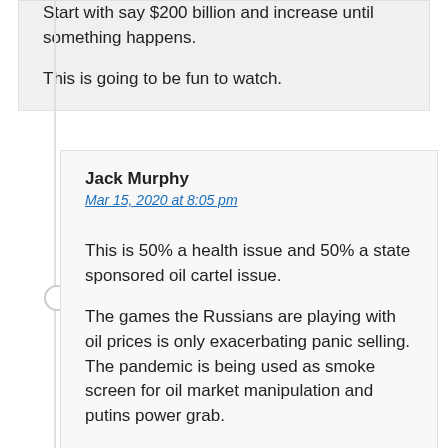Start with say $200 billion and increase until something happens.

This is going to be fun to watch.
Jack Murphy
Mar 15, 2020 at 8:05 pm
This is 50% a health issue and 50% a state sponsored oil cartel issue.

The games the Russians are playing with oil prices is only exacerbating panic selling. The pandemic is being used as smoke screen for oil market manipulation and putins power grab.

Over the next few weeks there are 2